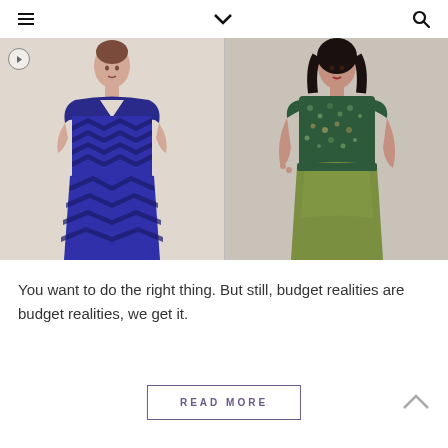navigation bar with hamburger menu, chevron dropdown, and search icon
[Figure (photo): Two fashion photos side by side: left shows a woman in a navy blue chevron-patterned dress; right shows a woman in a green floral top with olive green skirt/dress]
You want to do the right thing. But still, budget realities are budget realities, we get it.
READ MORE